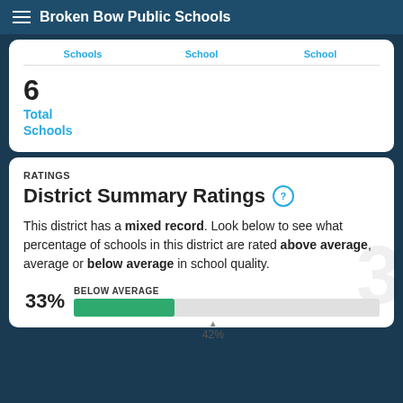Broken Bow Public Schools
Schools   School   School
6
Total Schools
RATINGS
District Summary Ratings
This district has a mixed record. Look below to see what percentage of schools in this district are rated above average, average or below average in school quality.
BELOW AVERAGE
33%  [bar chart]
▲ 42%